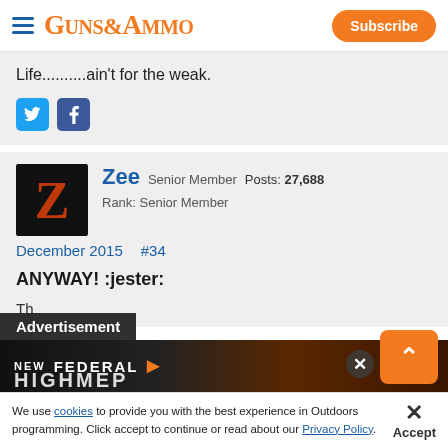GUNS&AMMO — Subscribe
Life..........ain't for the weak.
Zee Senior Member  Posts: 27,688  Rank: Senior Member
December 2015  #34
ANYWAY! :jester:
Th [Advertisement overlay] NEW FEDERAL
We use cookies to provide you with the best experience in Outdoors programming. Click accept to continue or read about our Privacy Policy.